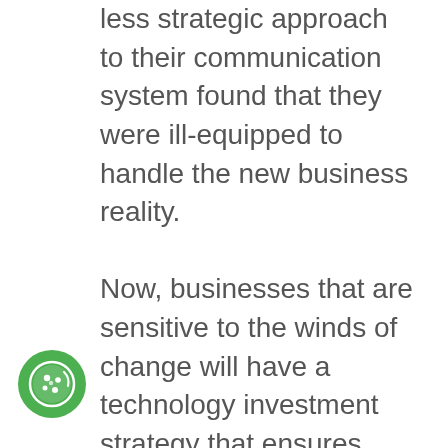less strategic approach to their communication system found that they were ill-equipped to handle the new business reality.

Now, businesses that are sensitive to the winds of change will have a technology investment strategy that ensures they aren't caught flat footed again. They'll keep their system as flexible as possible, ready to add functionality as needed, and
[Figure (illustration): Green circular cookie icon with a cookie graphic containing dots/chips]